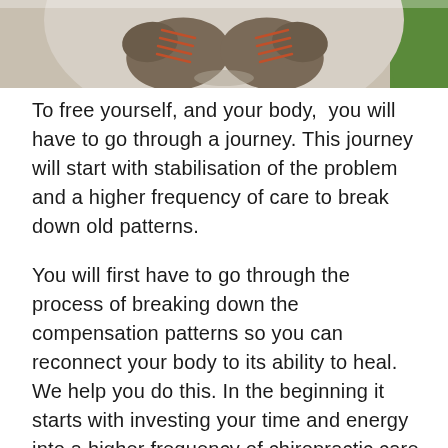[Figure (photo): Top-down view of a person's feet wearing brown hiking boots with orange laces, standing on a sandy/gravel path with green grass visible at the edge. Image is cropped at the top of the page.]
To free yourself, and your body,  you will have to go through a journey. This journey will start with stabilisation of the problem and a higher frequency of care to break down old patterns.
You will first have to go through the process of breaking down the compensation patterns so you can reconnect your body to its ability to heal. We help you do this. In the beginning it starts with investing your time and energy into a higher frequency of chiropractic care and corrective exercises. We do most of the work for you by  breaking down nervous system